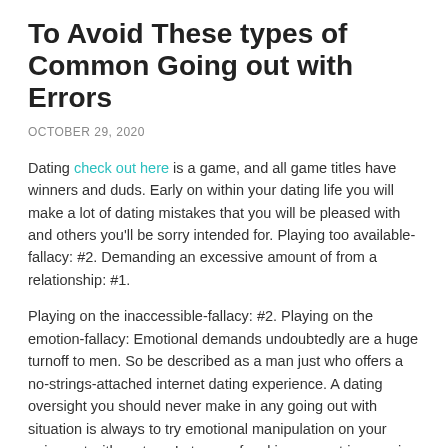To Avoid These types of Common Going out with Errors
OCTOBER 29, 2020
Dating check out here is a game, and all game titles have winners and duds. Early on within your dating life you will make a lot of dating mistakes that you will be pleased with and others you'll be sorry intended for. Playing too available-fallacy: #2. Demanding an excessive amount of from a relationship: #1.
Playing on the inaccessible-fallacy: #2. Playing on the emotion-fallacy: Emotional demands undoubtedly are a huge turnoff to men. So be described as a man just who offers a no-strings-attached internet dating experience. A dating oversight you should never make in any going out with situation is always to try emotional manipulation on your going out with partner. In terms of making a great impression with your